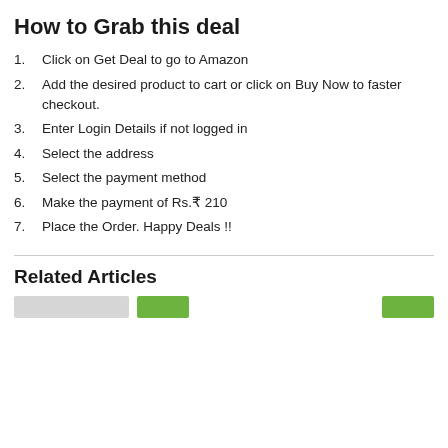How to Grab this deal
1. Click on Get Deal to go to Amazon
2. Add the desired product to cart or click on Buy Now to faster checkout.
3. Enter Login Details if not logged in
4. Select the address
5. Select the payment method
6. Make the payment of Rs.₹ 210
7. Place the Order. Happy Deals !!
Related Articles